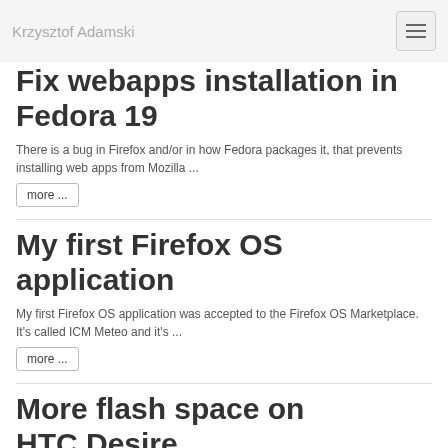Krzysztof Adamski
Fix webapps installation in Fedora 19
There is a bug in Firefox and/or in how Fedora packages it, that prevents installing web apps from Mozilla ...
more ...
My first Firefox OS application
My first Firefox OS application was accepted to the Firefox OS Marketplace. It's called ICM Meteo and it's ...
more ...
More flash space on HTC Desire